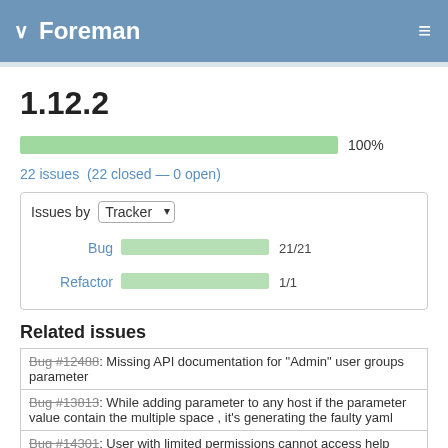Foreman
1.12.2
[Figure (bar-chart): Progress]
22 issues  (22 closed — 0 open)
[Figure (bar-chart): Issues by Tracker]
Related issues
| Bug #12488: Missing API documentation for "Admin" user groups parameter |
| Bug #13813: While adding parameter to any host if the parameter value contain the multiple space , it's generating the faulty yaml |
| Bug #14301: User with limited permissions cannot access help pages |
| Bug #14516: Host::Base#domain  id= delegated to |